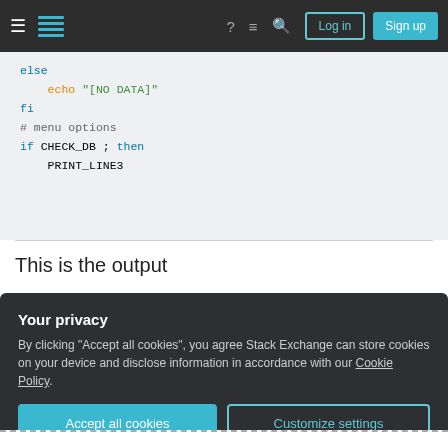Stack Exchange navigation bar with Log in and Sign up buttons
[Figure (screenshot): Code snippet showing bash shell script with keywords: else, echo "[NO DATA]", fi, # menu options, if CHECK_DB ; then, PRINT_LINE3]
This is the output
[Figure (screenshot): Output block showing horizontal lines with zigzag/caret patterns representing waveform or text output]
Your privacy
By clicking "Accept all cookies", you agree Stack Exchange can store cookies on your device and disclose information in accordance with our Cookie Policy.
Accept all cookies   Customize settings